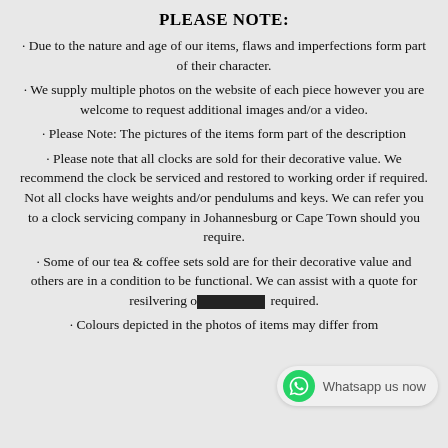PLEASE NOTE:
Due to the nature and age of our items, flaws and imperfections form part of their character.
We supply multiple photos on the website of each piece however you are welcome to request additional images and/or a video.
Please Note: The pictures of the items form part of the description
Please note that all clocks are sold for their decorative value. We recommend the clock be serviced and restored to working order if required. Not all clocks have weights and/or pendulums and keys. We can refer you to a clock servicing company in Johannesburg or Cape Town should you require.
Some of our tea & coffee sets sold are for their decorative value and others are in a condition to be functional. We can assist with a quote for resilvering or [redacted] required.
Colours depicted in the photos of items may differ from